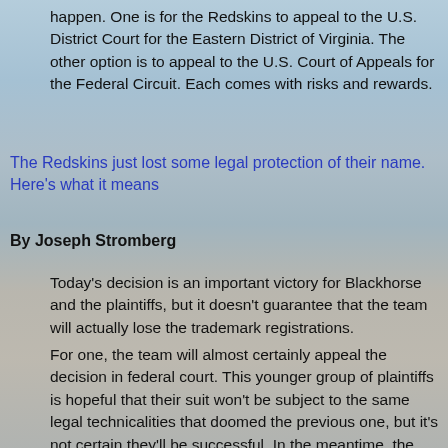happen. One is for the Redskins to appeal to the U.S. District Court for the Eastern District of Virginia. The other option is to appeal to the U.S. Court of Appeals for the Federal Circuit. Each comes with risks and rewards.
The Redskins just lost some legal protection of their name. Here's what it means
By Joseph Stromberg
Today's decision is an important victory for Blackhorse and the plaintiffs, but it doesn't guarantee that the team will actually lose the trademark registrations.
For one, the team will almost certainly appeal the decision in federal court. This younger group of plaintiffs is hopeful that their suit won't be subject to the same legal technicalities that doomed the previous one, but it's not certain they'll be successful. In the meantime, the team will keep full protection of its name.